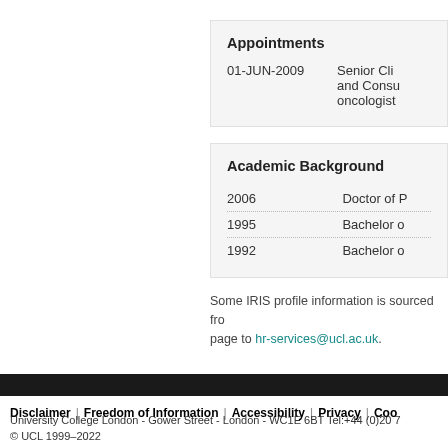|  | Appointments |
| --- | --- |
| 01-JUN-2009 | Senior Cli... and Consu... oncologist... |
|  | Academic Background |
| --- | --- |
| 2006 | Doctor of P... |
| 1995 | Bachelor o... |
| 1992 | Bachelor o... |
Some IRIS profile information is sourced fro... page to hr-services@ucl.ac.uk.
Disclaimer | Freedom of Information | Accessibility | Privacy | Coo... University College London - Gower Street - London - WC1E 6BT Tel:+44 (0)20 7... © UCL 1999–2022